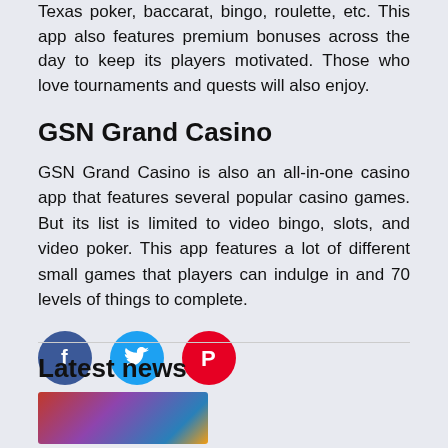Texas poker, baccarat, bingo, roulette, etc. This app also features premium bonuses across the day to keep its players motivated. Those who love tournaments and quests will also enjoy.
GSN Grand Casino
GSN Grand Casino is also an all-in-one casino app that features several popular casino games. But its list is limited to video bingo, slots, and video poker. This app features a lot of different small games that players can indulge in and 70 levels of things to complete.
[Figure (infographic): Social media share buttons: Facebook (blue circle with f), Twitter (cyan circle with bird), Pinterest (red circle with P)]
Latest news
[Figure (photo): News article thumbnail image showing colorful casino-themed imagery]